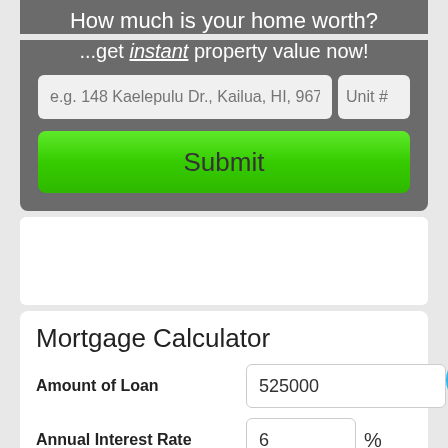How much is your home worth?
...get instant property value now!
e.g. 148 Kaelepulu Dr., Kailua, HI, 967 | Unit #
Submit
Mortgage Calculator
Amount of Loan: 525000
Annual Interest Rate: 6 %